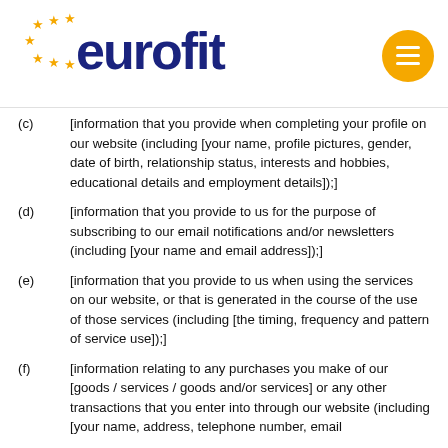[Figure (logo): Eurofit logo with blue stars and dark blue bold text 'eurofit', with an orange circular hamburger menu icon on the right]
(c)      [information that you provide when completing your profile on our website (including [your name, profile pictures, gender, date of birth, relationship status, interests and hobbies, educational details and employment details]);]
(d)      [information that you provide to us for the purpose of subscribing to our email notifications and/or newsletters (including [your name and email address]);]
(e)      [information that you provide to us when using the services on our website, or that is generated in the course of the use of those services (including [the timing, frequency and pattern of service use]);]
(f)      [information relating to any purchases you make of our [goods / services / goods and/or services] or any other transactions that you enter into through our website (including [your name, address, telephone number, email